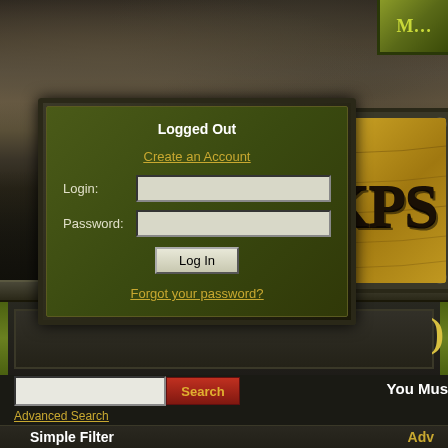[Figure (screenshot): Top hero area with dark stormy sky background and game UI elements]
Logged Out
Create an Account
Login:
Password:
Log In
Forgot your password?
[Figure (logo): DKPS logo in golden/yellow color on decorative wooden-texture background with metal frame]
Search
Advanced Search
You Must
Simple Filter
Adv
[All]
[General]